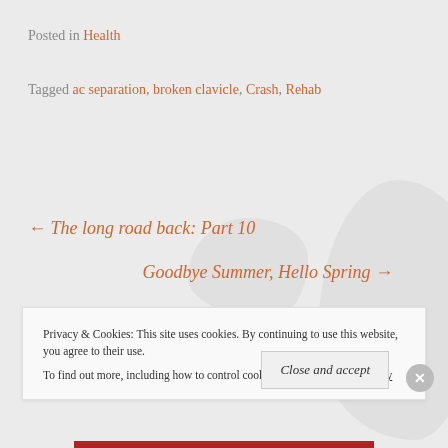Posted in Health
Tagged ac separation, broken clavicle, Crash, Rehab
← The long road back: Part 10
Goodbye Summer, Hello Spring →
Privacy & Cookies: This site uses cookies. By continuing to use this website, you agree to their use.
To find out more, including how to control cookies, see here: Cookie Policy
Close and accept